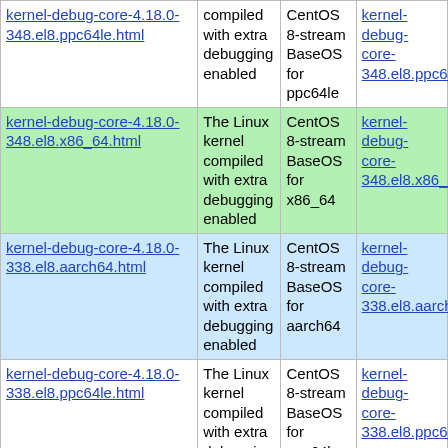| Package | Description | Repository | Download |
| --- | --- | --- | --- |
| kernel-debug-core-4.18.0-348.el8.ppc64le.html | compiled with extra debugging enabled | CentOS 8-stream BaseOS for ppc64le | kernel-debug-core-348.el8.ppc64le.rpm |
| kernel-debug-core-4.18.0-348.el8.x86_64.html | The Linux kernel compiled with extra debugging enabled | CentOS 8-stream BaseOS for x86_64 | kernel-debug-core-348.el8.x86_64.rpm |
| kernel-debug-core-4.18.0-338.el8.aarch64.html | The Linux kernel compiled with extra debugging enabled | CentOS 8-stream BaseOS for aarch64 | kernel-debug-core-338.el8.aarch64.rpm |
| kernel-debug-core-4.18.0-338.el8.ppc64le.html | The Linux kernel compiled with extra debugging enabled | CentOS 8-stream BaseOS for ppc64le | kernel-debug-core-338.el8.ppc64le.rpm |
| kernel-debug-core-4.18.0-... | The Linux kernel compiled | CentOS 8-stream | kernel-debug-core-... |